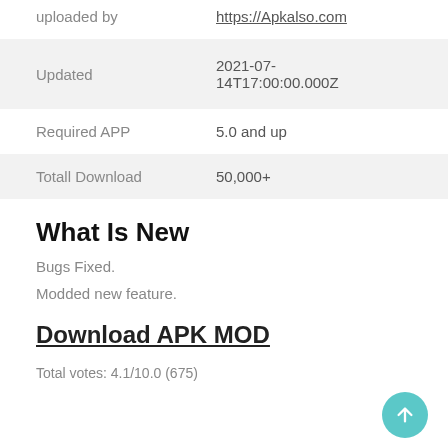| Field | Value |
| --- | --- |
| uploaded by | https://Apkalso.com |
| Updated | 2021-07-14T17:00:00.000Z |
| Required APP | 5.0 and up |
| Totall Download | 50,000+ |
What Is New
Bugs Fixed.
Modded new feature.
Download APK MOD
Total votes: 4.1/10.0 (675)